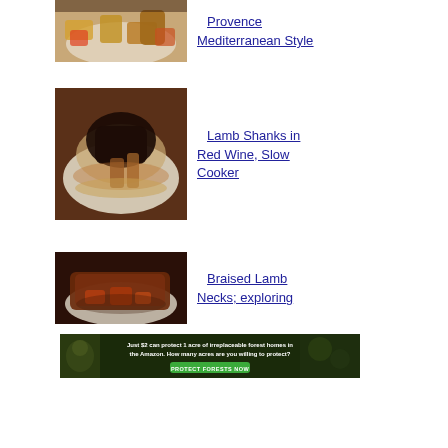[Figure (photo): Partial photo of roasted meat and vegetables on a white plate, cropped at top]
Provence Mediterranean Style
[Figure (photo): Lamb shanks in red wine sauce on a white scalloped plate with mashed potatoes]
Lamb Shanks in Red Wine, Slow Cooker
[Figure (photo): Braised lamb necks on a white plate with vegetables]
Braised Lamb Necks; exploring
[Figure (photo): Advertisement banner: Just $2 can protect 1 acre of irreplaceable forest homes in the Amazon. How many acres are you willing to protect? PROTECT FORESTS NOW]